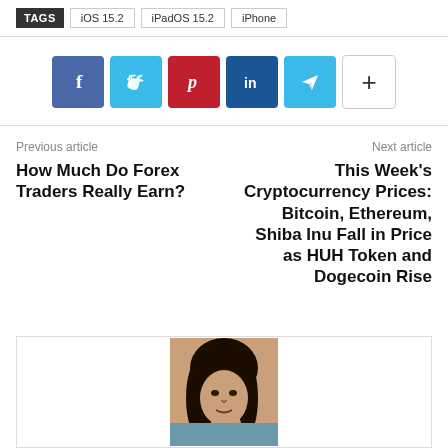TAGS   iOS 15.2   iPadOS 15.2   iPhone
[Figure (infographic): Row of social sharing buttons: Facebook (blue), Twitter (light blue), Pinterest (red), LinkedIn (dark blue), Telegram (light blue), More (+) (white/bordered)]
Previous article
How Much Do Forex Traders Really Earn?
Next article
This Week's Cryptocurrency Prices: Bitcoin, Ethereum, Shiba Inu Fall in Price as HUH Token and Dogecoin Rise
[Figure (photo): Author photo: woman with dark hair, partial view]